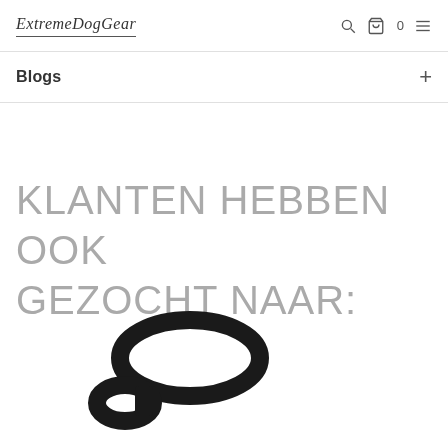ExtremeDogGear [logo] | search | cart 0 | menu
Blogs +
KLANTEN HEBBEN OOK GEZOCHT NAAR:
[Figure (photo): Black dog leash coiled loop on white background, partially cropped at bottom of page]